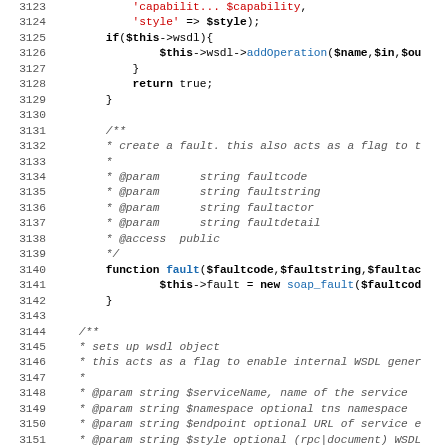[Figure (screenshot): PHP source code listing showing lines 3123-3155, including function definitions for fault() and configureWSDL(), with line numbers, syntax highlighting (red strings, blue function names, bold keywords), and italic comment blocks.]